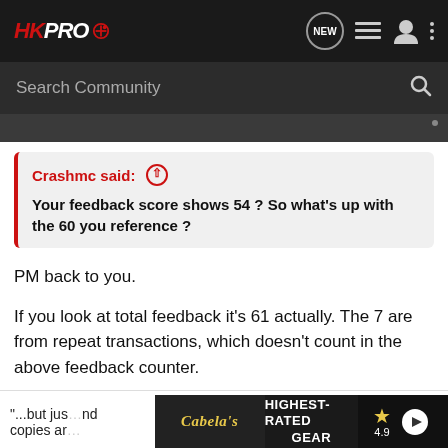[Figure (screenshot): HKPro forum website header with logo, navigation icons, and search bar]
Crashmc said: ↑
Your feedback score shows 54 ? So what's up with the 60 you reference ?
PM back to you.
If you look at total feedback it's 61 actually. The 7 are from repeat transactions, which doesn't count in the above feedback counter.
"...but just...nd copies ar...
[Figure (screenshot): Cabela's Highest-Rated Gear advertisement banner with 4.9 star rating and play button]